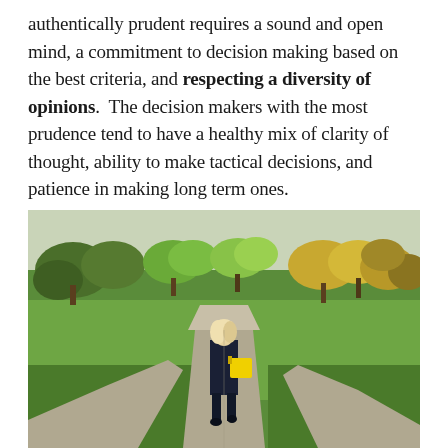authentically prudent requires a sound and open mind, a commitment to decision making based on the best criteria, and respecting a diversity of opinions. The decision makers with the most prudence tend to have a healthy mix of clarity of thought, ability to make tactical decisions, and patience in making long term ones.
[Figure (photo): A woman with blonde hair wearing a dark coat and carrying a yellow bag, walking away from the camera down a paved path in a green park. The path forks into two directions. Trees line the background, with lush green grass on either side.]